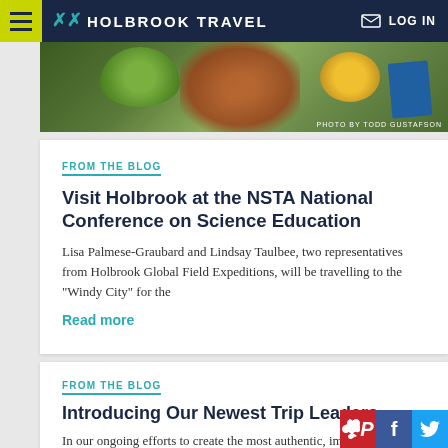HOLBROOK TRAVEL  LOG IN
[Figure (photo): Partial photo of a frog or animal with colorful background, credit: PHOTO BY TODD GUSTAFSON]
PHOTO BY TODD GUSTAFSON
FROM THE BLOG
Visit Holbrook at the NSTA National Conference on Science Education
Lisa Palmese-Graubard and Lindsay Taulbee, two representatives from Holbrook Global Field Expeditions, will be travelling to the "Windy City" for the
Read more
FROM THE BLOG
Introducing Our Newest Trip Leaders
In our ongoing efforts to create the most authentic, immersive experience for our travelers, Holbrook is happy to welcome several new trip leaders to our team.